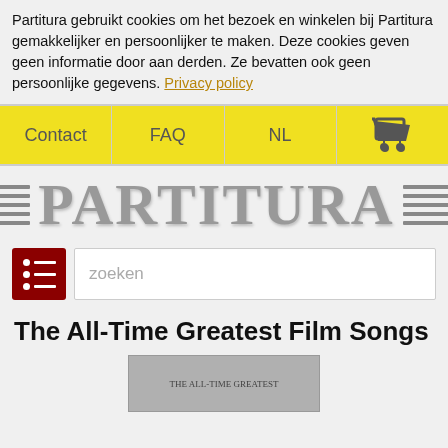Partitura gebruikt cookies om het bezoek en winkelen bij Partitura gemakkelijker en persoonlijker te maken. Deze cookies geven geen informatie door aan derden. Ze bevatten ook geen persoonlijke gegevens. Privacy policy
[Figure (screenshot): Navigation bar with yellow background containing Contact, FAQ, NL, and shopping cart icon]
[Figure (logo): Partitura logo with horizontal music staff lines on both sides of the bold serif text PARTITURA in gray]
[Figure (screenshot): Dark red menu button and search input field with placeholder text 'zoeken']
The All-Time Greatest Film Songs
[Figure (photo): Partial view of a book cover for The All-Time Greatest Film Songs]